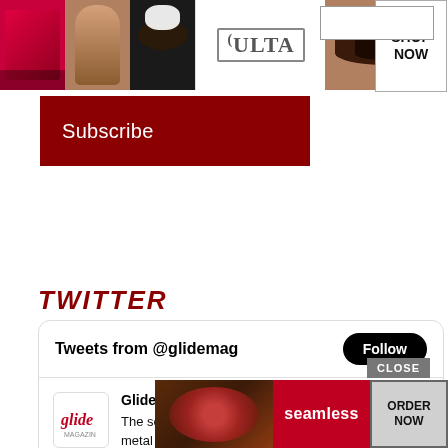[Figure (screenshot): ULTA Beauty advertisement banner with makeup images, ULTA logo, and SHOP NOW button]
[Figure (screenshot): Dark red Subscribe button]
TWITTER
[Figure (screenshot): Twitter widget showing Tweets from @glidemag with Follow button and a tweet from Glide Magazine about Mongolian folk-metal band The HU, with a link buff.ly/3q0m7ZL]
[Figure (screenshot): Seamless food delivery advertisement with ORDER NOW button and CLOSE button overlay]